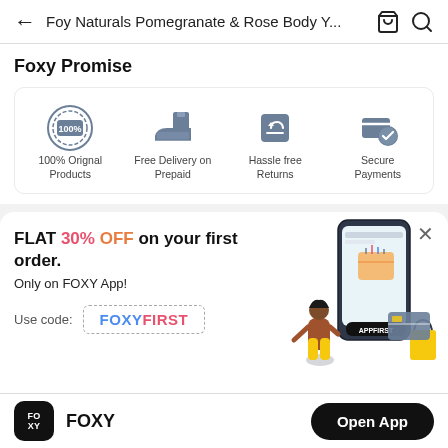← Foy Naturals Pomegranate & Rose Body Y... 🛍 🔍
Foxy Promise
[Figure (infographic): Four trust badges in a row: 100% Original Products, Free Delivery on Prepaid, Hassle free Returns, Secure Payments]
100% Orignal Products
Free Delivery on Prepaid
Hassle free Returns
Secure Payments
[Figure (illustration): Promotional banner showing a person sitting with shopping items and a phone mockup with APPFIRST text]
FLAT 30% OFF on your first order. Only on FOXY App!
Use code: FOXYFIRST
FOXY  Open App